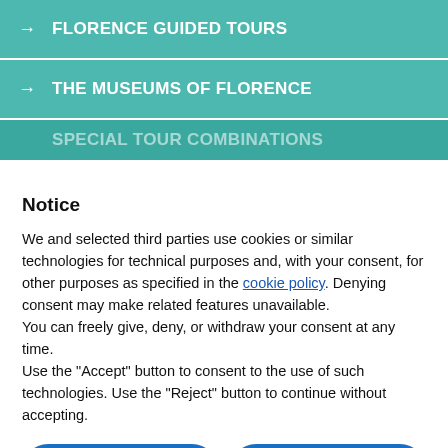→ FLORENCE GUIDED TOURS
→ THE MUSEUMS OF FLORENCE
SPECIAL TOUR COMBINATIONS
Notice
We and selected third parties use cookies or similar technologies for technical purposes and, with your consent, for other purposes as specified in the cookie policy. Denying consent may make related features unavailable.
You can freely give, deny, or withdraw your consent at any time.
Use the "Accept" button to consent to the use of such technologies. Use the "Reject" button to continue without accepting.
Reject
Accept
Learn more and customise